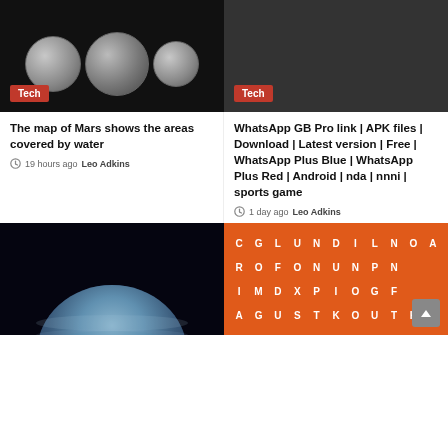[Figure (photo): Three spherical Mars globe images showing surface features on black background]
Tech
[Figure (photo): Dark gray/black background image with Tech badge]
Tech
The map of Mars shows the areas covered by water
19 hours ago  Leo Adkins
WhatsApp GB Pro link | APK files | Download | Latest version | Free | WhatsApp Plus Blue | WhatsApp Plus Red | Android | nda | nnni | sports game
1 day ago  Leo Adkins
[Figure (photo): Jupiter planet with glowing atmosphere on dark space background]
[Figure (other): Orange word search puzzle grid with white letters: C G L U N D I L N O A J / R O F O N U N P N / I M D X P I O G F / A G U S T K O U T K E P / with back-to-top button overlay]